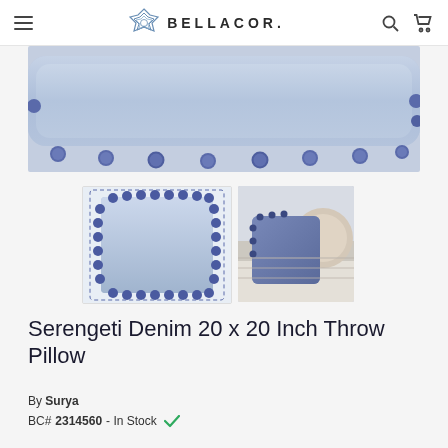BELLACOR.
[Figure (photo): Close-up of a blue/denim rectangular throw pillow with navy blue pom-pom trim along the bottom edge, against a white background.]
[Figure (photo): Square blue denim throw pillow with pom-pom trim around all edges, shown against a white background with a dotted border frame.]
[Figure (photo): Blue denim square throw pillow with pom-pom trim on a bed with other cream/white pillows and textured throw.]
Serengeti Denim 20 x 20 Inch Throw Pillow
By Surya
BC# 2314560 - In Stock